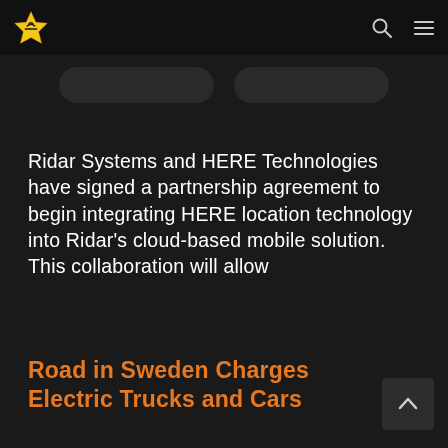Navigation bar with star logo, search icon, and menu icon
[Figure (other): Two dark pill-shaped button elements at top of page]
Ridar Systems and HERE Technologies have signed a partnership agreement to begin integrating HERE location technology into Ridar's cloud-based mobile solution. This collaboration will allow
Road in Sweden Charges Electric Trucks and Cars